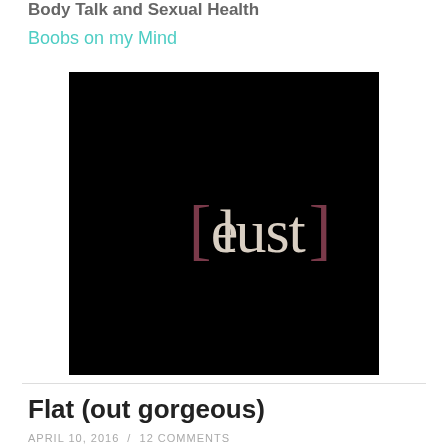Body Talk and Sexual Health
Boobs on my Mind
[Figure (logo): e[lust] logo — white/cream stylized text reading 'e[lust]' with dark red square brackets on a black background]
Flat (out gorgeous)
APRIL 10, 2016  /  12 COMMENTS
I have mixed feelings about this photo. Of all the photos my amazing friend (The Photographer) has taken of me...